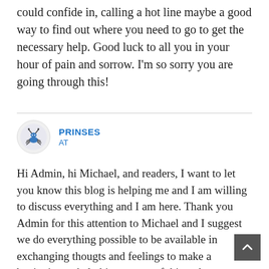could confide in, calling a hot line maybe a good way to find out where you need to go to get the necessary help. Good luck to all you in your hour of pain and sorrow. I'm so sorry you are going through this!
PRINSES
AT
Hi Admin, hi Michael, and readers, I want to let you know this blog is helping me and I am willing to discuss everything and I am here. Thank you Admin for this attention to Michael and I suggest we do everything possible to be available in exchanging thougts and feelings to make a beginning to help him get out of this sadness. Believe me Michael, I've been there... (and still working hard to stay in the clear zone ;)) Share your feelings, it helps!
Prinses